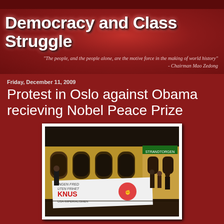Democracy and Class Struggle
"The people, and the people alone, are the motive force in the making of world history" - Chairman Mao Zedong
Friday, December 11, 2009
Protest in Oslo against Obama recieving Nobel Peace Prize
[Figure (photo): Protest in Oslo at night outside a building. People holding a large white banner reading 'INGEN FRED UTEN FRIHET KNUS USA-IMPERIALISMEN' with a red fist logo.]